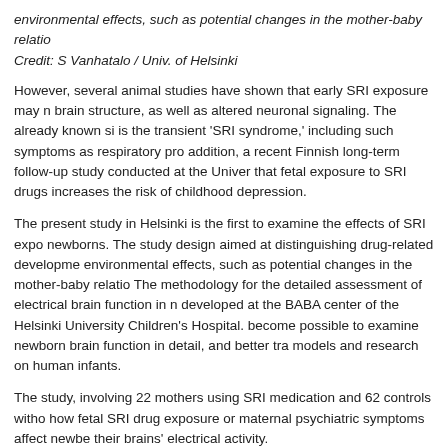environmental effects, such as potential changes in the mother-baby relatio… Credit: S Vanhatalo / Univ. of Helsinki
However, several animal studies have shown that early SRI exposure may n… brain structure, as well as altered neuronal signaling. The already known si… is the transient 'SRI syndrome,' including such symptoms as respiratory pro… addition, a recent Finnish long-term follow-up study conducted at the Univer… that fetal exposure to SRI drugs increases the risk of childhood depression.
The present study in Helsinki is the first to examine the effects of SRI expo… newborns. The study design aimed at distinguishing drug-related developme… environmental effects, such as potential changes in the mother-baby relatio… The methodology for the detailed assessment of electrical brain function in n… developed at the BABA center of the Helsinki University Children's Hospital.… become possible to examine newborn brain function in detail, and better tra… models and research on human infants.
The study, involving 22 mothers using SRI medication and 62 controls witho… how fetal SRI drug exposure or maternal psychiatric symptoms affect newbe… their brains' electrical activity.